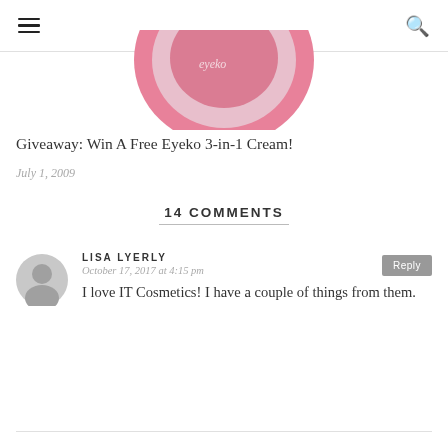[Figure (photo): Partial view of a pink Eyeko 3-in-1 Cream product, cropped at the top]
Giveaway: Win A Free Eyeko 3-in-1 Cream!
July 1, 2009
14 COMMENTS
LISA LYERLY
October 17, 2017 at 4:15 pm
I love IT Cosmetics! I have a couple of things from them.